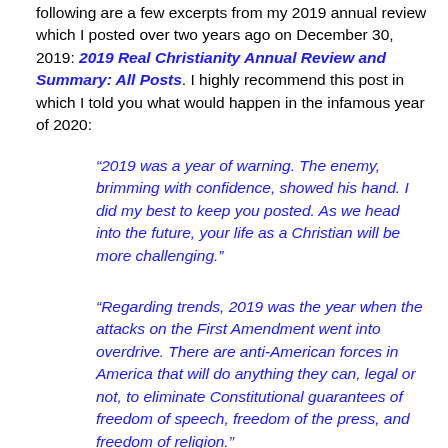following are a few excerpts from my 2019 annual review which I posted over two years ago on December 30, 2019: 2019 Real Christianity Annual Review and Summary: All Posts. I highly recommend this post in which I told you what would happen in the infamous year of 2020:
“2019 was a year of warning. The enemy, brimming with confidence, showed his hand. I did my best to keep you posted. As we head into the future, your life as a Christian will be more challenging.”
“Regarding trends, 2019 was the year when the attacks on the First Amendment went into overdrive. There are anti-American forces in America that will do anything they can, legal or not, to eliminate Constitutional guarantees of freedom of speech, freedom of the press, and freedom of religion.”